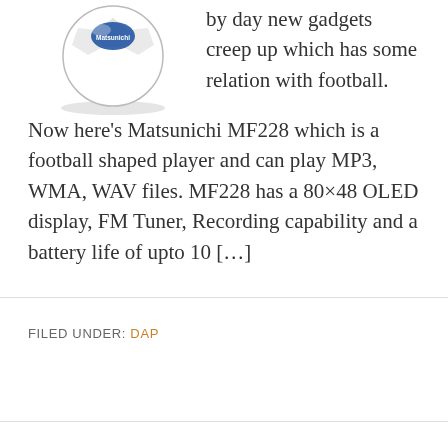[Figure (photo): Football-shaped MP3 player (Matsunichi MF228) — white soccer ball with blue label on top]
by day new gadgets creep up which has some relation with football. Now here's Matsunichi MF228 which is a football shaped player and can play MP3, WMA, WAV files. MF228 has a 80×48 OLED display, FM Tuner, Recording capability and a battery life of upto 10 […]
FILED UNDER: DAP
Toblerone MP3 Player
APRIL 26, 2006 BY KUNAL GANGAR — LEAVE A COMMENT